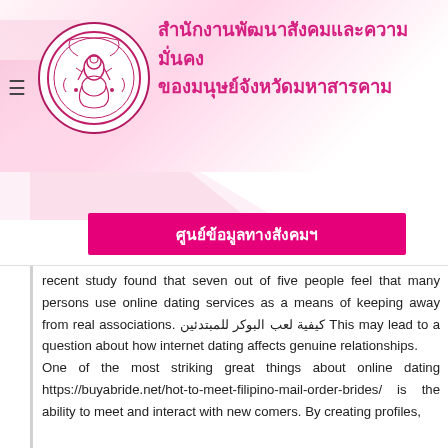สำนักงานพัฒนาสังคมและความมั่นคงของมนุษย์จังหวัดมหาสารคาม
ศูนย์ข้อมูลทางสังคมฯ
recent study found that seven out of five people feel that many persons use online dating services as a means of keeping away from real associations. كيفية لعب البوكر للمبتدئين This may lead to a question about how internet dating affects genuine relationships. One of the most striking great things about online dating https://buyabride.net/hot-to-meet-filipino-mail-order-brides/ is the ability to meet and interact with new comers. By creating profiles,